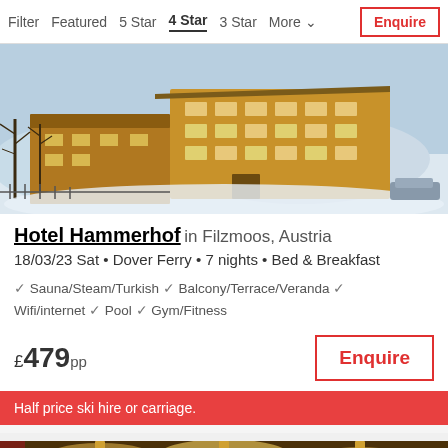Filter  Featured  5 Star  4 Star  3 Star  More  Enquire
[Figure (photo): Winter exterior photo of Hotel Hammerhof in Filzmoos, Austria, showing a traditional alpine hotel building with snow-covered surroundings and bare trees]
Hotel Hammerhof in Filzmoos, Austria
18/03/23 Sat • Dover Ferry • 7 nights • Bed & Breakfast
✓ Sauna/Steam/Turkish ✓ Balcony/Terrace/Veranda ✓ Wifi/internet ✓ Pool ✓ Gym/Fitness
£479 pp
Enquire
Half price ski hire or carriage.
[Figure (photo): Partial interior photo of a second hotel listing showing warm wooden ceiling lighting]